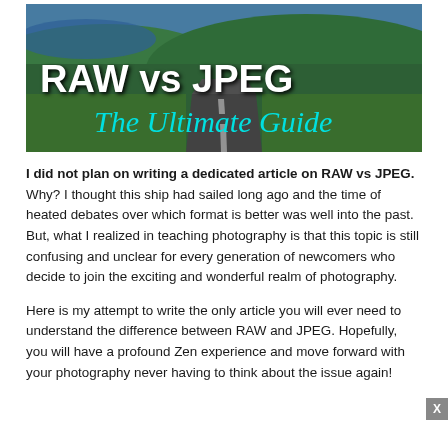[Figure (illustration): Banner image showing a scenic road through green countryside with text overlay: 'RAW vs JPEG — The Ultimate Guide' in white bold and teal cursive fonts]
I did not plan on writing a dedicated article on RAW vs JPEG. Why? I thought this ship had sailed long ago and the time of heated debates over which format is better was well into the past. But, what I realized in teaching photography is that this topic is still confusing and unclear for every generation of newcomers who decide to join the exciting and wonderful realm of photography.

Here is my attempt to write the only article you will ever need to understand the difference between RAW and JPEG. Hopefully, you will have a profound Zen experience and move forward with your photography never having to think about the issue again!